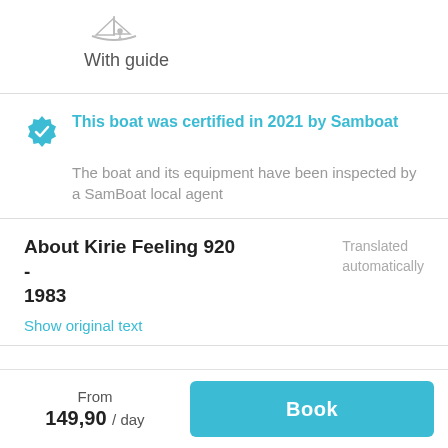[Figure (illustration): Small sailboat icon in light gray outline style]
With guide
This boat was certified in 2021 by Samboat
The boat and its equipment have been inspected by a SamBoat local agent
About Kirie Feeling 920 - 1983
Translated automatically
Show original text
From
149,90 / day
Book